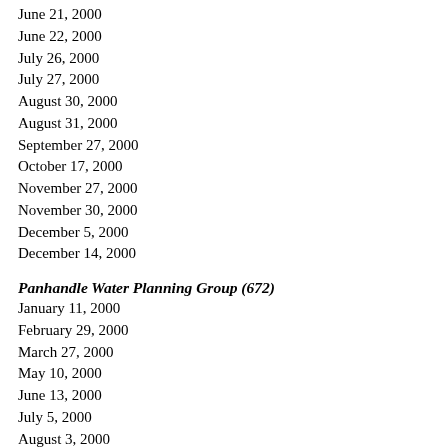June 21, 2000
June 22, 2000
July 26, 2000
July 27, 2000
August 30, 2000
August 31, 2000
September 27, 2000
October 17, 2000
November 27, 2000
November 30, 2000
December 5, 2000
December 14, 2000
Panhandle Water Planning Group (672)
January 11, 2000
February 29, 2000
March 27, 2000
May 10, 2000
June 13, 2000
July 5, 2000
August 3, 2000
September 19, 2000
November 9, 2000
December 12, 2000